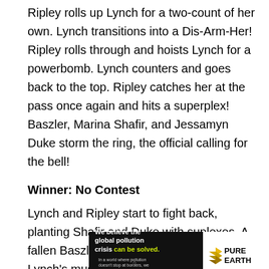Ripley rolls up Lynch for a two-count of her own. Lynch transitions into a Dis-Arm-Her! Ripley rolls through and hoists Lynch for a powerbomb. Lynch counters and goes back to the top. Ripley catches her at the pass once again and hits a superplex! Baszler, Marina Shafir, and Jessamyn Duke storm the ring, the official calling for the bell!
Winner: No Contest
Lynch and Ripley start to fight back, planting Shafir and Duke with suplexes. A fallen Baszler stares from the outside as Lynch's music plays.
[Figure (infographic): Pure Earth advertisement banner: 'We believe the global pollution crisis can be solved.' with Pure Earth logo and text 'In a world where pollution doesn't stop at borders, we can all be part of the solution. JOIN US.']
x